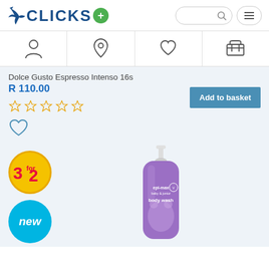[Figure (logo): Clicks pharmacy logo with blue unicorn-style bird icon, CLICKS text in dark blue, and green plus sign badge]
[Figure (screenshot): Navigation bar with four icons: person/account, location pin, heart/wishlist, shopping cart]
Dolce Gusto Espresso Intenso 16s
R 110.00
[Figure (other): Five empty star rating icons in yellow/gold outline]
[Figure (other): Add to basket button in teal/steel blue]
[Figure (other): Heart/wishlist icon outline]
[Figure (other): 3 for 2 promotional badge - yellow circle with red text]
[Figure (other): New badge - blue circle with white italic text 'new']
[Figure (photo): Epi-max baby & junior body wash product in purple pump bottle]